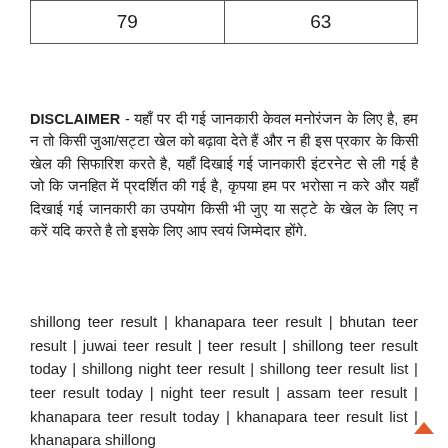| 79 | 63 |
DISCLAIMER - [Hindi text disclaimer about teer results and lottery games]
shillong teer result | khanapara teer result | bhutan teer result | juwai teer result | teer result | shillong teer result today | shillong night teer result | shillong teer result list | teer result today | night teer result | assam teer result | khanapara teer result today | khanapara teer result list | khanapara shillong